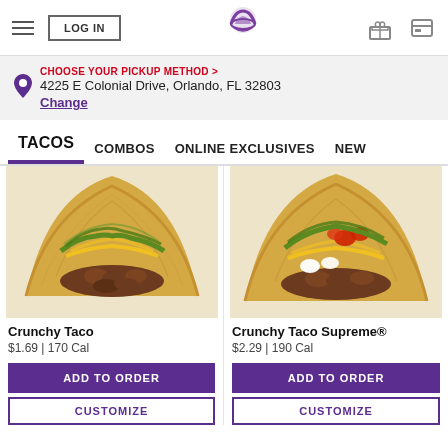LOG IN | Taco Bell logo | gift icon | card icon
CHOOSE YOUR PICKUP METHOD > 4225 E Colonial Drive, Orlando, FL 32803 Change
TACOS   COMBOS   ONLINE EXCLUSIVES   NEW
[Figure (photo): Photo of a Crunchy Taco - hard shell taco with ground beef, lettuce and cheese on a light wooden surface]
Crunchy Taco
$1.69 | 170 Cal
[Figure (photo): Photo of a Crunchy Taco Supreme - hard shell taco with ground beef, lettuce, cheese, tomato, and sour cream on a light wooden surface]
Crunchy Taco Supreme®
$2.29 | 190 Cal